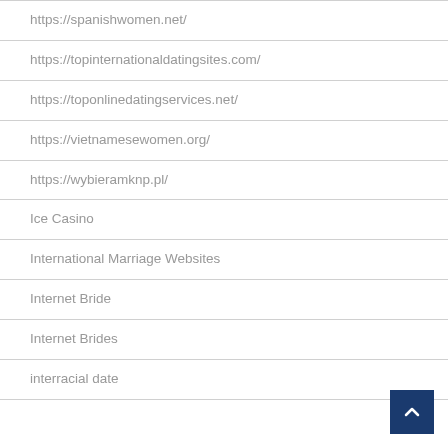https://spanishwomen.net/
https://topinternationaldatingsites.com/
https://toponlinedatingservices.net/
https://vietnamesewomen.org/
https://wybieramknp.pl/
Ice Casino
International Marriage Websites
Internet Bride
Internet Brides
interracial date